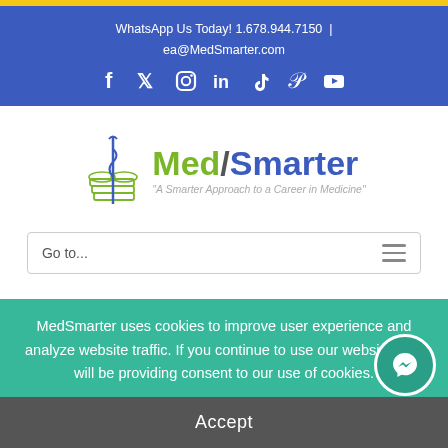WhatsApp Us Today! 1.678.944.7150 | ea@MedSmarter.com
[Figure (logo): MedSmarter logo with caduceus icon and tagline 'A Smarter Approach to a Career in Medicine']
Go to...
MedSmarter uses cookies to improve user experience and analyze website traffic. If you continue to use our website, you will be providing consent to our use of cookies.
Accept